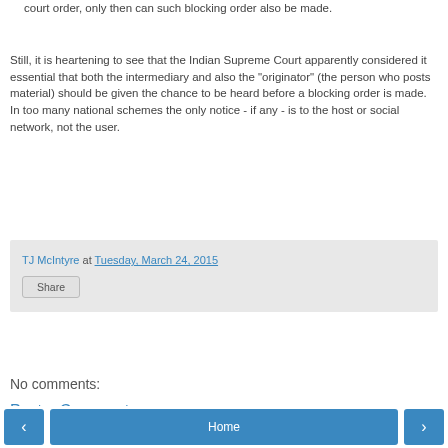court order, only then can such blocking order also be made.
Still, it is heartening to see that the Indian Supreme Court apparently considered it essential that both the intermediary and also the "originator" (the person who posts material) should be given the chance to be heard before a blocking order is made. In too many national schemes the only notice - if any - is to the host or social network, not the user.
TJ McIntyre at Tuesday, March 24, 2015
Share
No comments:
Post a Comment